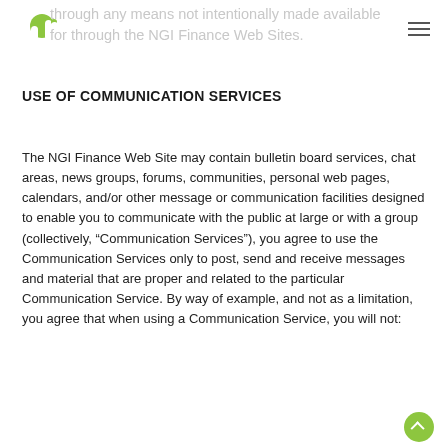through any means not intentionally made available for through the NGI Finance Web Sites.
USE OF COMMUNICATION SERVICES
The NGI Finance Web Site may contain bulletin board services, chat areas, news groups, forums, communities, personal web pages, calendars, and/or other message or communication facilities designed to enable you to communicate with the public at large or with a group (collectively, “Communication Services”), you agree to use the Communication Services only to post, send and receive messages and material that are proper and related to the particular Communication Service. By way of example, and not as a limitation, you agree that when using a Communication Service, you will not: